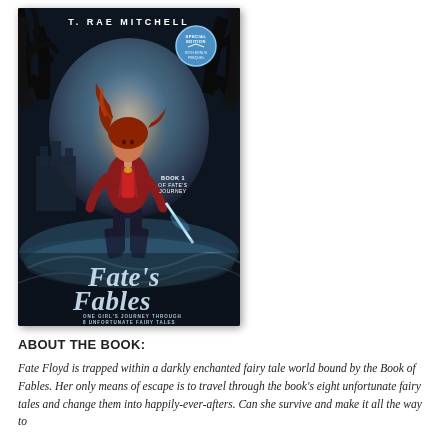[Figure (illustration): Book cover for 'Fate's Fables' by T. Rae Mitchell. Shows a young woman with red hair in a red jacket holding a glowing sword, standing in a fantasy landscape with dark trees and a misty castle in the background. Text reads: T. RAE MITCHELL at the top, a Special Edition badge with 'With Bonus Prequel', 'Book 1 Of Fate's Journey' on the right side, the large title 'Fate's Fables' in stylized script, and subtitle 'One Girl's Journey Through 8 Unfortunate Fairy Tales' at the bottom.]
ABOUT THE BOOK:
Fate Floyd is trapped within a darkly enchanted fairy tale world bound by the Book of Fables. Her only means of escape is to travel through the book's eight unfortunate fairy tales and change them into happily-ever-afters. Can she survive and make it all the way to